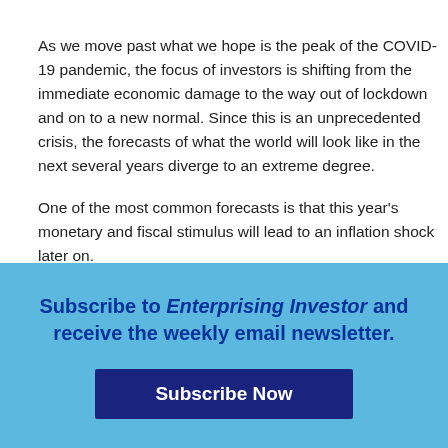As we move past what we hope is the peak of the COVID-19 pandemic, the focus of investors is shifting from the immediate economic damage to the way out of lockdown and on to a new normal. Since this is an unprecedented crisis, the forecasts of what the world will look like in the next several years diverge to an extreme degree.
One of the most common forecasts is that this year's monetary and fiscal stimulus will lead to an inflation shock later on.
[Figure (infographic): Light blue subscription banner with bold blue text: 'Subscribe to Enterprising Investor and receive the weekly email newsletter.' and a dark navy 'Subscribe Now' button.]